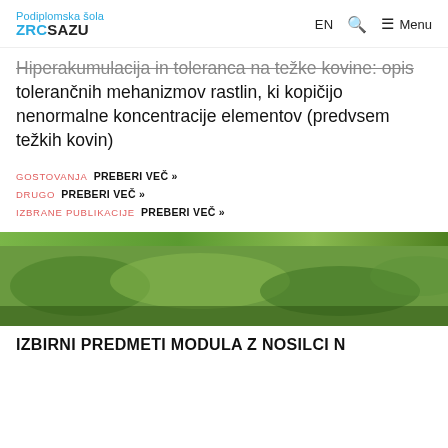Podiplomska šola ZRC SAZU | EN | Search | Menu
Hiperakumulacija in toleranca na težke kovine: opis tolerančnih mehanizmov rastlin, ki kopičijo nenormalne koncentracije elementov (predvsem težkih kovin)
GOSTOVANJA PREBERI VEČ »
DRUGO PREBERI VEČ »
IZBRANE PUBLIKACIJE PREBERI VEČ »
[Figure (photo): Green plant/nature photo strip used as section divider]
IZBIRNI PREDMETI MODULA Z NOSILCI N